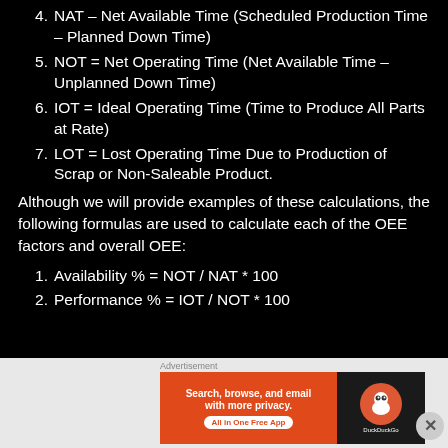4. NAT – Net Available Time (Scheduled Production Time – Planned Down Time)
5. NOT = Net Operating Time (Net Available Time – Unplanned Down Time)
6. IOT = Ideal Operating Time (Time to Produce All Parts at Rate)
7. LOT = Lost Operating Time Due to Production of Scrap or Non-Saleable Product.
Although we will provide examples of these calculations, the following formulas are used to calculate each of the OEE factors and overall OEE:
1. Availability % = NOT / NAT * 100
2. Performance % = IOT / NOT * 100
[Figure (screenshot): DuckDuckGo advertisement banner: 'Search, browse, and email with more privacy. All in One Free App' with DuckDuckGo logo on dark background.]